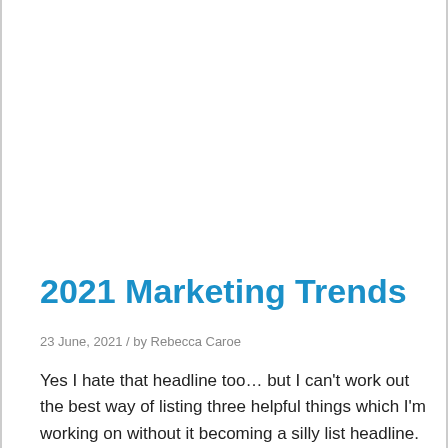2021 Marketing Trends
23 June, 2021 / by Rebecca Caroe
Yes I hate that headline too… but I can't work out the best way of listing three helpful things which I'm working on without it becoming a silly list headline.